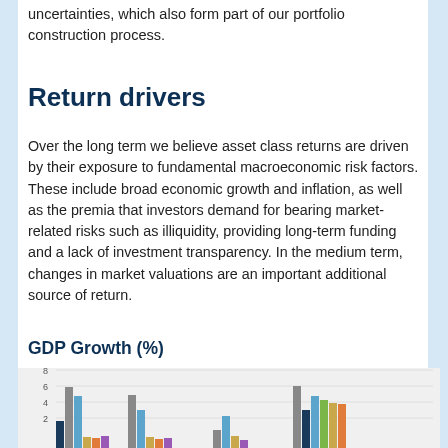uncertainties, which also form part of our portfolio construction process.
Return drivers
Over the long term we believe asset class returns are driven by their exposure to fundamental macroeconomic risk factors. These include broad economic growth and inflation, as well as the premia that investors demand for bearing market-related risks such as illiquidity, providing long-term funding and a lack of investment transparency. In the medium term, changes in market valuations are an important additional source of return.
GDP Growth (%)
[Figure (grouped-bar-chart): Grouped bar chart showing GDP growth percentages for multiple regions/countries. Y-axis from 0 to 8. Bars visible in range 1-7, partially cut off at bottom of page.]